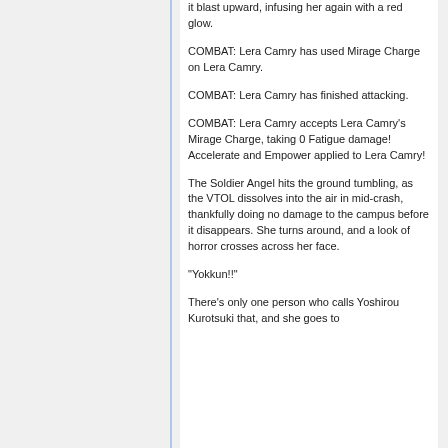it blast upward, infusing her again with a red glow.
COMBAT: Lera Camry has used Mirage Charge on Lera Camry.
COMBAT: Lera Camry has finished attacking.
COMBAT: Lera Camry accepts Lera Camry's Mirage Charge, taking 0 Fatigue damage! Accelerate and Empower applied to Lera Camry!
The Soldier Angel hits the ground tumbling, as the VTOL dissolves into the air in mid-crash, thankfully doing no damage to the campus before it disappears. She turns around, and a look of horror crosses across her face.
"Yokkun!!"
There's only one person who calls Yoshirou Kurotsuki that, and she goes to